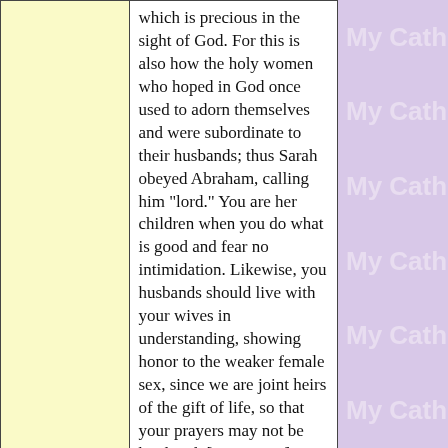| Topic | Content |
| --- | --- |
|  | which is precious in the sight of God. For this is also how the holy women who hoped in God once used to adorn themselves and were subordinate to their husbands; thus Sarah obeyed Abraham, calling him "lord." You are her children when you do what is good and fear no intimidation. Likewise, you husbands should live with your wives in understanding, showing honor to the weaker female sex, since we are joint heirs of the gift of life, so that your prayers may not be hindered. [1 PT 3:1-7]
return to previous page | top |
| Proper Behavior & Appearance | Any man who prays or prophesies with his head covered... |
[Figure (other): Repeating 'My Catho' watermark text on purple/lavender background on right side of page]